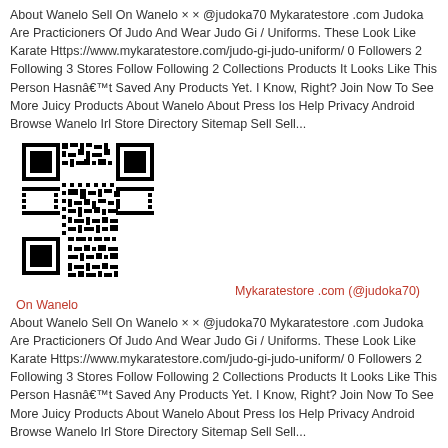About Wanelo Sell On Wanelo × × @judoka70 Mykaratestore .com Judoka Are Practicioners Of Judo And Wear Judo Gi / Uniforms. These Look Like Karate Https://www.mykaratestore.com/judo-gi-judo-uniform/ 0 Followers 2 Following 3 Stores Follow Following 2 Collections Products It Looks Like This Person Hasnâ€™t Saved Any Products Yet. I Know, Right? Join Now To See More Juicy Products About Wanelo About Press Ios Help Privacy Android Browse Wanelo Irl Store Directory Sitemap Sell Sell...
[Figure (other): QR code for Mykaratestore.com (@judoka70) on Wanelo]
Mykaratestore .com (@judoka70) On Wanelo
About Wanelo Sell On Wanelo × × @judoka70 Mykaratestore .com Judoka Are Practicioners Of Judo And Wear Judo Gi / Uniforms. These Look Like Karate Https://www.mykaratestore.com/judo-gi-judo-uniform/ 0 Followers 2 Following 3 Stores Follow Following 2 Collections Products It Looks Like This Person Hasnâ€™t Saved Any Products Yet. I Know, Right? Join Now To See More Juicy Products About Wanelo About Press Ios Help Privacy Android Browse Wanelo Irl Store Directory Sitemap Sell Sell...
[Figure (other): Second QR code (partial, bottom of page)]